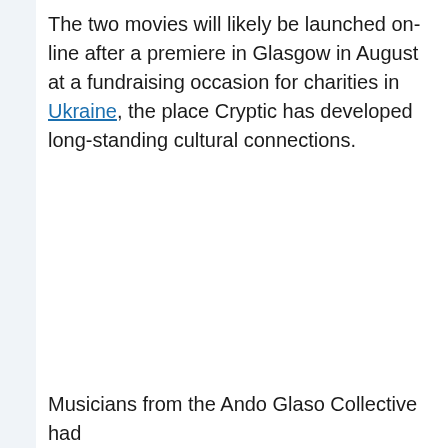The two movies will likely be launched on-line after a premiere in Glasgow in August at a fundraising occasion for charities in Ukraine, the place Cryptic has developed long-standing cultural connections.
Musicians from the Ando Glaso Collective had